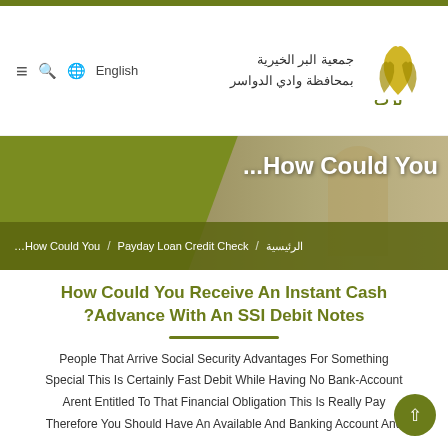جمعية البر الخيرية بمحافظة وادي الدواسر | English
[Figure (screenshot): Hero banner image showing a person in traditional Saudi dress, with an olive/dark green left panel and breadcrumb navigation]
...How Could You
…How Could You / Payday Loan Credit Check / الرئيسية
How Could You Receive An Instant Cash ?Advance With An SSI Debit Notes
People That Arrive Social Security Advantages For Something Special This Is Certainly Fast Debit While Having No Bank-Account Arent Entitled To That Financial Obligation This Is Really Pay Therefore You Should Have An Available And Banking Account And